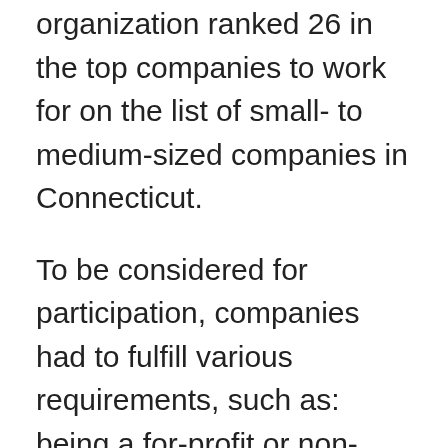organization ranked 26 in the top companies to work for on the list of small- to medium-sized companies in Connecticut.
To be considered for participation, companies had to fulfill various requirements, such as: being a for-profit or non-profit business or government entity; be a publicly or privately held business; have at least 15